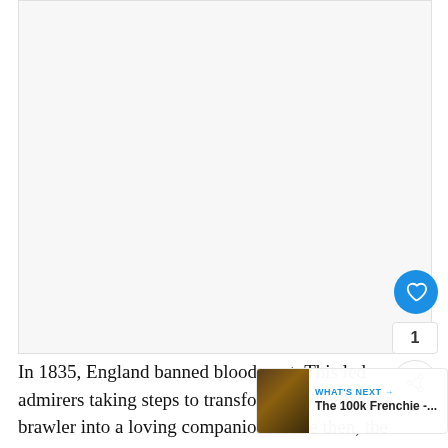[Figure (photo): Large white/blank image area taking up the upper portion of the page, representing a photo placeholder for an article about English Bulldogs.]
[Figure (infographic): UI overlay with heart/like button (blue circle with heart icon), count of 1, and share button (white circle with share icon) on the right side.]
[Figure (screenshot): "WHAT'S NEXT" overlay widget in lower right showing a thumbnail of a bulldog and the text 'The 100k Frenchie -...']
In 1835, England banned bloodsport. This led admirers taking steps to transform the dog from a brawler into a loving companion. Since then, the English Bulldog